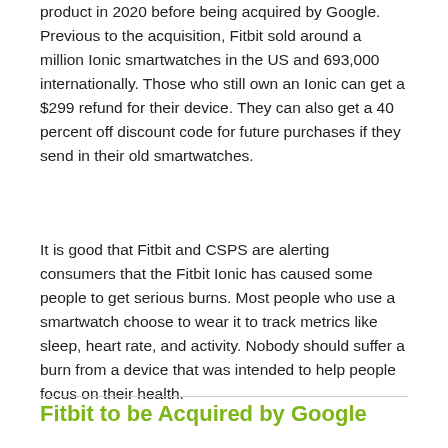product in 2020 before being acquired by Google. Previous to the acquisition, Fitbit sold around a million Ionic smartwatches in the US and 693,000 internationally. Those who still own an Ionic can get a $299 refund for their device. They can also get a 40 percent off discount code for future purchases if they send in their old smartwatches.
It is good that Fitbit and CSPS are alerting consumers that the Fitbit Ionic has caused some people to get serious burns. Most people who use a smartwatch choose to wear it to track metrics like sleep, heart rate, and activity. Nobody should suffer a burn from a device that was intended to help people focus on their health.
Fitbit to be Acquired by Google